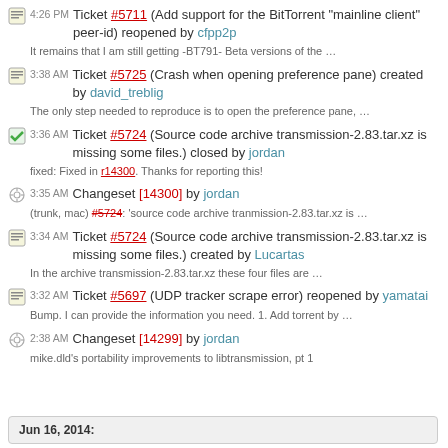4:26 PM Ticket #5711 (Add support for the BitTorrent "mainline client" peer-id) reopened by cfpp2p
It remains that I am still getting -BT791- Beta versions of the …
3:38 AM Ticket #5725 (Crash when opening preference pane) created by david_treblig
The only step needed to reproduce is to open the preference pane, …
3:36 AM Ticket #5724 (Source code archive transmission-2.83.tar.xz is missing some files.) closed by jordan
fixed: Fixed in r14300. Thanks for reporting this!
3:35 AM Changeset [14300] by jordan
(trunk, mac) #5724: 'source code archive tranmission-2.83.tar.xz is …
3:34 AM Ticket #5724 (Source code archive transmission-2.83.tar.xz is missing some files.) created by Lucartas
In the archive transmission-2.83.tar.xz these four files are …
3:32 AM Ticket #5697 (UDP tracker scrape error) reopened by yamatai
Bump. I can provide the information you need. 1. Add torrent by …
2:38 AM Changeset [14299] by jordan
mike.dld's portability improvements to libtransmission, pt 1
Jun 16, 2014: